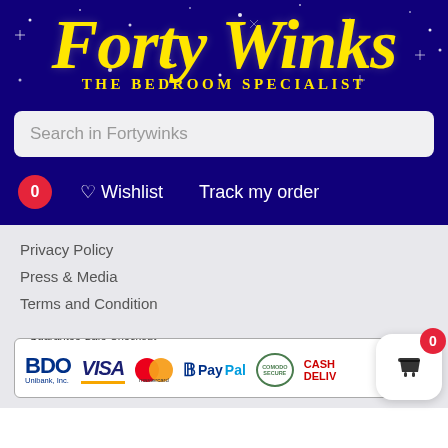[Figure (logo): Forty Winks - The Bedroom Specialist logo on navy blue starry background with yellow serif italic text]
Search in Fortywinks
0  ♡ Wishlist   Track my order
Privacy Policy
Press & Media
Terms and Condition
[Figure (infographic): Guarantee Safe Checkout section with payment logos: BDO Unibank Inc., Visa, Mastercard, PayPal, Comodo Secure, Cash on Delivery. Floating cart button with badge showing 0.]